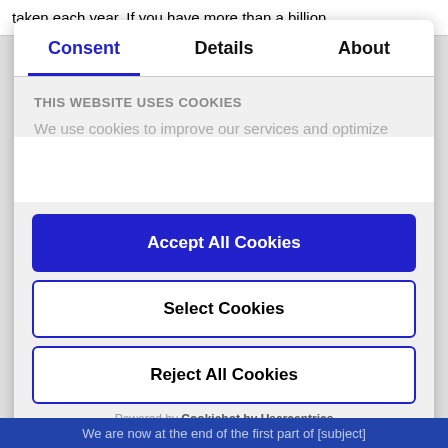taken each year. If you have more than a billion,
Consent | Details | About
THIS WEBSITE USES COOKIES
We use cookies to improve our services and optimize
Accept All Cookies
Select Cookies
Reject All Cookies
Powered by Cookiebot by Usercentrics
We are now at the end of the first part of [subject]